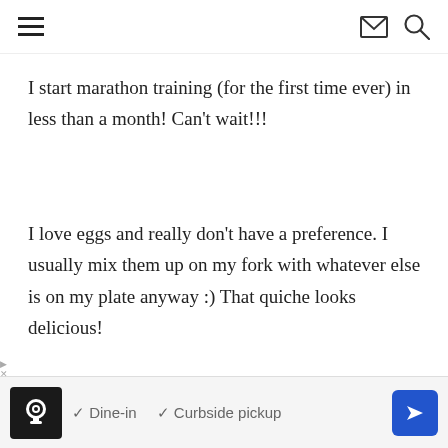Navigation header with hamburger menu, email icon, and search icon
I start marathon training (for the first time ever) in less than a month! Can't wait!!!
I love eggs and really don't have a preference. I usually mix them up on my fork with whatever else is on my plate anyway :) That quiche looks delicious!
THE RUNNING SCHLUB · APRIL 8, 2014 AT 11:16 AM
↓ REPLY
[Figure (infographic): Advertisement bar with restaurant logo, Dine-in and Curbside pickup checkmarks, and blue direction arrow icon]